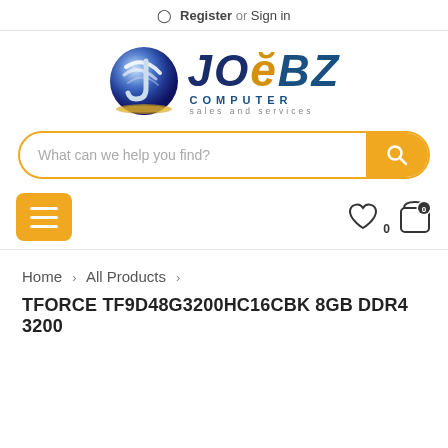Register or Sign in
[Figure (logo): JoeBZ Computer Sales and Services logo with globe icon]
What can we help you find?
[Figure (other): Navigation bar with hamburger menu button, heart/wishlist icon with 0 count, and cart icon with 0 count]
Home > All Products >
TFORCE TF9D48G3200HC16CBK 8GB DDR4 3200